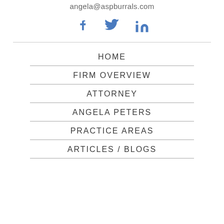angela@aspburrals.com
[Figure (illustration): Social media icons: Facebook (f), Twitter (bird), LinkedIn (in) in blue]
HOME
FIRM OVERVIEW
ATTORNEY
ANGELA PETERS
PRACTICE AREAS
ARTICLES / BLOGS